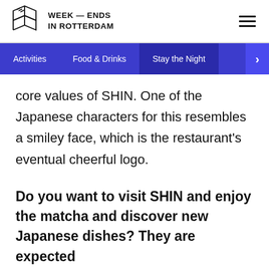WEEK — ENDS IN ROTTERDAM
core values of SHIN. One of the Japanese characters for this resembles a smiley face, which is the restaurant's eventual cheerful logo.
Do you want to visit SHIN and enjoy the matcha and discover new Japanese dishes? They are expected